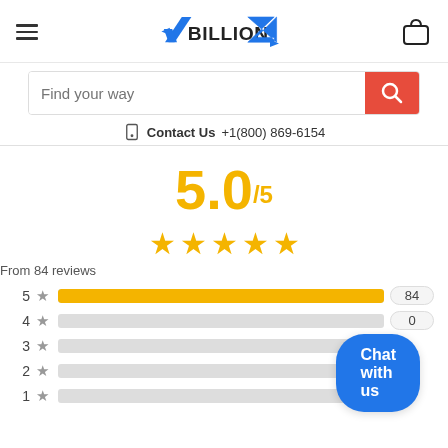ABillionZ — hamburger menu, logo, bag icon
Find your way
Contact Us +1(800) 869-6154
5.0/5
[Figure (other): 5 gold stars rating display]
From 84 reviews
| Stars | Bar | Count |
| --- | --- | --- |
| 5 ★ | full | 84 |
| 4 ★ | empty | 0 |
| 3 ★ | empty | 0 |
| 2 ★ | empty | 0 |
| 1 ★ | empty | 0 |
Chat with us